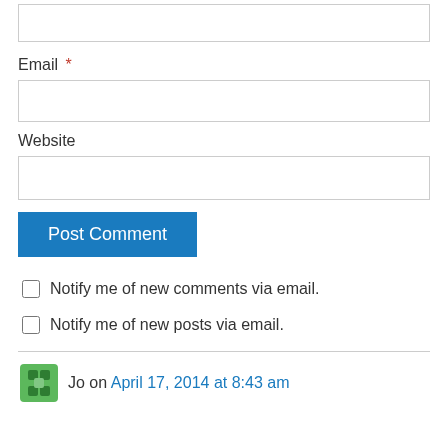[Figure (other): Partial text input box (top of page, cut off)]
Email *
[Figure (other): Email text input field]
Website
[Figure (other): Website text input field]
[Figure (other): Post Comment button (blue)]
Notify me of new comments via email.
Notify me of new posts via email.
Jo on April 17, 2014 at 8:43 am